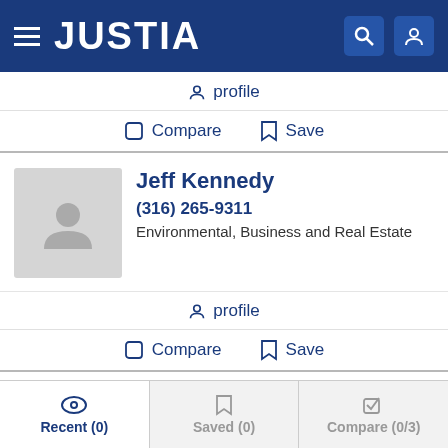JUSTIA
profile
Compare  Save
Jeff Kennedy
(316) 265-9311
Environmental, Business and Real Estate
profile
Compare  Save
Robert C. Brown
(316) 268-9730
Recent (0)  Saved (0)  Compare (0/3)